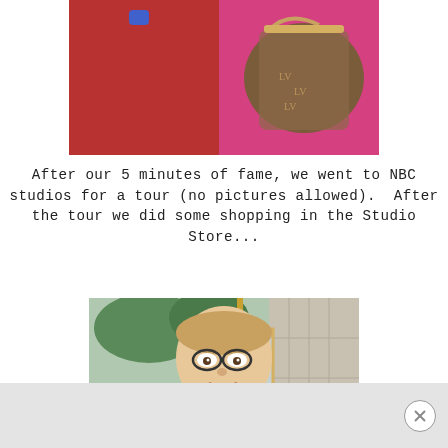[Figure (photo): Partial photo at top showing people in red clothing and a Louis Vuitton handbag, cropped at bottom of page]
After our 5 minutes of fame, we went to NBC studios for a tour (no pictures allowed).  After the tour we did some shopping in the Studio Store...
[Figure (photo): Two young women posing next to a large bobblehead/cutout of a character with glasses (Dwight from The Office) outside the NBC Studio Store. One woman wears a red jacket and pink cap, the other wears a yellow jacket and white cap.]